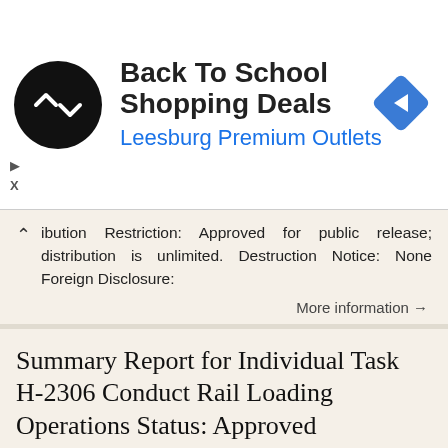[Figure (screenshot): Ad banner: Back To School Shopping Deals at Leesburg Premium Outlets with circular logo and blue navigation arrow icon]
ibution Restriction: Approved for public release; distribution is unlimited. Destruction Notice: None Foreign Disclosure:
More information →
Summary Report for Individual Task H-2306 Conduct Rail Loading Operations Status: Approved
Report Date: 17 Jun 2014 Summary Report for Individual Task 551-88H-2306 Conduct Rail Loading Operations Status: Approved Distribution Restriction: Approved for public release; distribution is unlimited.